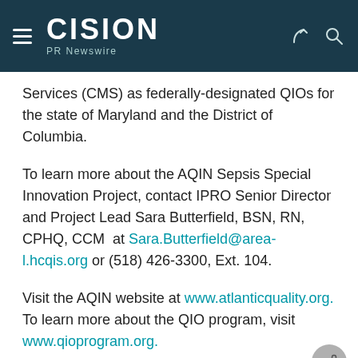CISION PR Newswire
Services (CMS) as federally-designated QIOs for the state of Maryland and the District of Columbia.
To learn more about the AQIN Sepsis Special Innovation Project, contact IPRO Senior Director and Project Lead Sara Butterfield, BSN, RN, CPHQ, CCM at Sara.Butterfield@area-l.hcqis.org or (518) 426-3300, Ext. 104.
Visit the AQIN website at www.atlanticquality.org. To learn more about the QIO program, visit www.qioprogram.org.